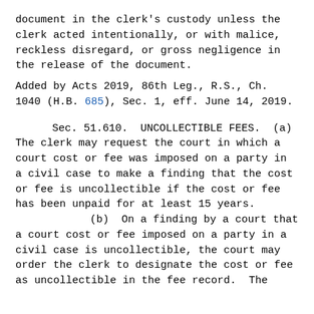document in the clerk's custody unless the clerk acted intentionally, or with malice, reckless disregard, or gross negligence in the release of the document.
Added by Acts 2019, 86th Leg., R.S., Ch. 1040 (H.B. 685), Sec. 1, eff. June 14, 2019.
Sec. 51.610. UNCOLLECTIBLE FEES. (a) The clerk may request the court in which a court cost or fee was imposed on a party in a civil case to make a finding that the cost or fee is uncollectible if the cost or fee has been unpaid for at least 15 years.
(b) On a finding by a court that a court cost or fee imposed on a party in a civil case is uncollectible, the court may order the clerk to designate the cost or fee as uncollectible in the fee record. The